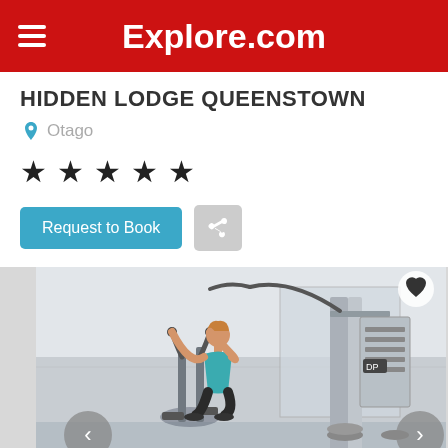Explore.com
HIDDEN LODGE QUEENSTOWN
Otago
★ ★ ★ ★ ★
Request to Book
[Figure (photo): Woman using elliptical machine in a gym with weight training equipment, white walls and mirrors in background]